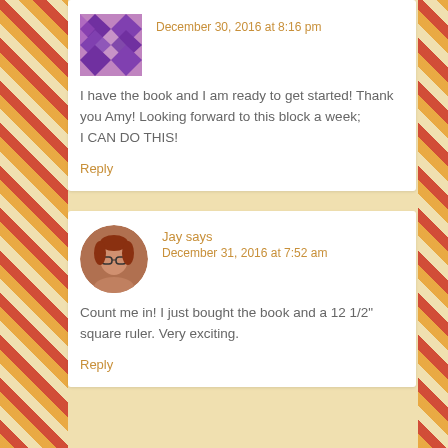December 30, 2016 at 8:16 pm
I have the book and I am ready to get started! Thank you Amy! Looking forward to this block a week;
I CAN DO THIS!
Reply
Jay says
December 31, 2016 at 7:52 am
Count me in! I just bought the book and a 12 1/2" square ruler. Very exciting.
Reply